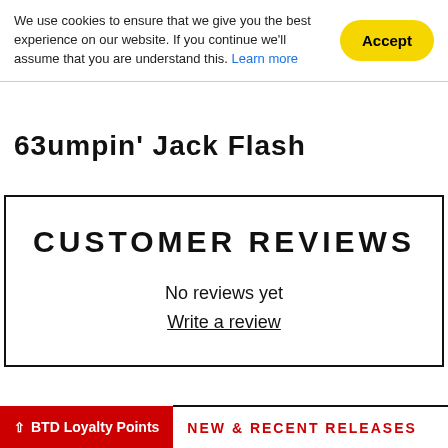We use cookies to ensure that we give you the best experience on our website. If you continue we'll assume that you are understand this. Learn more
Accept
63umpin' Jack Flash
CUSTOMER REVIEWS
No reviews yet
Write a review
BTD Loyalty Points   NEW & RECENT RELEASES